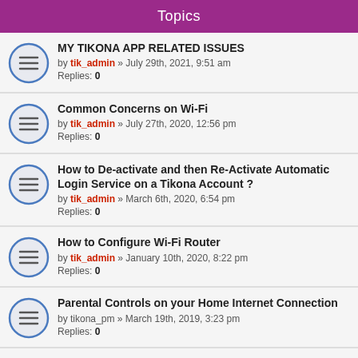Topics
MY TIKONA APP RELATED ISSUES by tik_admin » July 29th, 2021, 9:51 am Replies: 0
Common Concerns on Wi-Fi by tik_admin » July 27th, 2020, 12:56 pm Replies: 0
How to De-activate and then Re-Activate Automatic Login Service on a Tikona Account ? by tik_admin » March 6th, 2020, 6:54 pm Replies: 0
How to Configure Wi-Fi Router by tik_admin » January 10th, 2020, 8:22 pm Replies: 0
Parental Controls on your Home Internet Connection by tikona_pm » March 19th, 2019, 3:23 pm Replies: 0
4K Resolution Contents - Insight by TikonaCare » June 11th, 2018, 1:35 pm